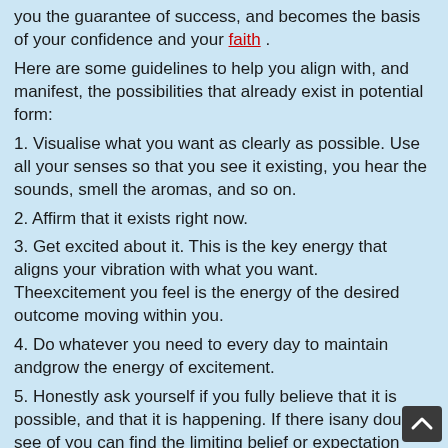you the guarantee of success, and becomes the basis of your confidence and your faith .
Here are some guidelines to help you align with, and manifest, the possibilities that already exist in potential form:
1. Visualise what you want as clearly as possible. Use all your senses so that you see it existing, you hear the sounds, smell the aromas, and so on.
2. Affirm that it exists right now.
3. Get excited about it. This is the key energy that aligns your vibration with what you want. Theexcitement you feel is the energy of the desired outcome moving within you.
4. Do whatever you need to every day to maintain andgrow the energy of excitement.
5. Honestly ask yourself if you fully believe that it is possible, and that it is happening. If there isany doubt see of you can find the limiting belief or expectation causing that.
6. Cultivate new beliefs that will serve you betterwith this.
7. Engage in consistent action to move you forward. Ifnecessary make a plan and work your plan every day.